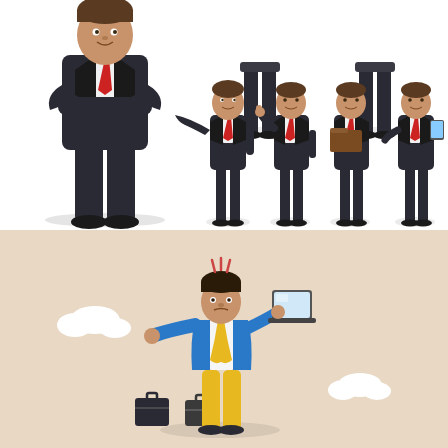[Figure (illustration): Illustration of multiple businessmen in dark suits with red ties in various poses: one large figure with arms crossed (left), two smaller figures showing legs only (upper center and upper right), and four smaller full-body figures in different poses including gesturing, thumbs up, holding a folder, and holding a tablet.]
[Figure (illustration): Illustration on beige/tan background of a stressed or multitasking businessman in a blue jacket and yellow pants holding a laptop in one hand, a briefcase in another, with additional bags on the ground, small clouds in the background, and wavy lines above his head suggesting stress or chaos.]